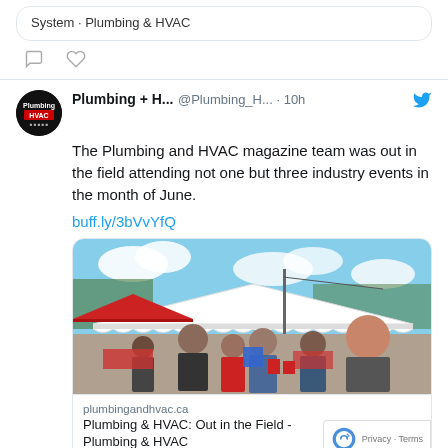[Figure (screenshot): Top portion of a tweet card showing partial text 'System · Plumbing & HVAC' with comment and like icons below]
Plumbing + H... @Plumbing_H... · 10h
The Plumbing and HVAC magazine team was out in the field attending not one but three industry events in the month of June.
buff.ly/3bVvYfQ
[Figure (photo): Outdoor event photo showing people at an industry event with white tents, vendors, crowd of attendees in sunny weather]
plumbingandhvac.ca
Plumbing & HVAC: Out in the Field - Plumbing & HVAC